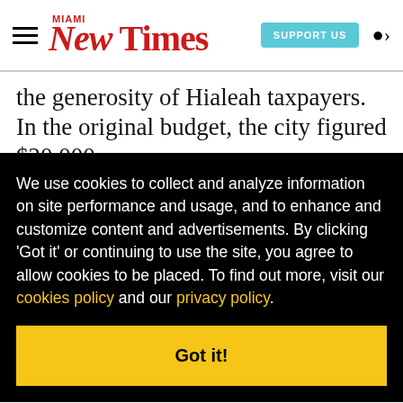Miami New Times | SUPPORT US
the generosity of Hialeah taxpayers. In the original budget, the city figured $20,000 was
We use cookies to collect and analyze information on site performance and usage, and to enhance and customize content and advertisements. By clicking 'Got it' or continuing to use the site, you agree to allow cookies to be placed. To find out more, visit our cookies policy and our privacy policy.
recently arrived balseros to older exiles. "We